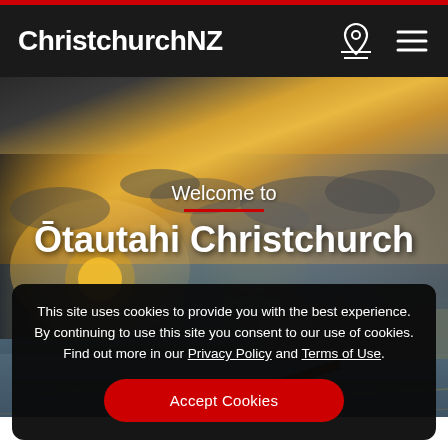ChristchurchNZ
[Figure (photo): Aerial photograph of Christchurch/Ōtautahi at sunset, showing a long pier extending over water with the city in the background and a golden sky with clouds]
Welcome to
Ōtautahi Christchurch
This site uses cookies to provide you with the best experience. By continuing to use this site you consent to our use of cookies. Find out more in our Privacy Policy and Terms of Use.
Accept Cookies